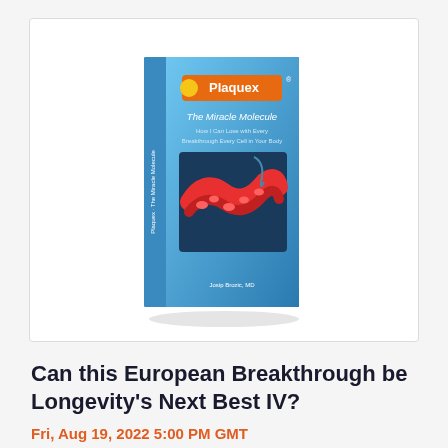[Figure (illustration): A 3D book cover for 'Plaquex: The Miracle Molecule' showing a blue cover with an orange banner at the top reading 'Plaquex', subtitle 'The Miracle Molecule', and an anatomical image of blood vessels/arteries.]
Can this European Breakthrough be Longevity's Next Best IV?
Fri, Aug 19, 2022 5:00 PM GMT
Free